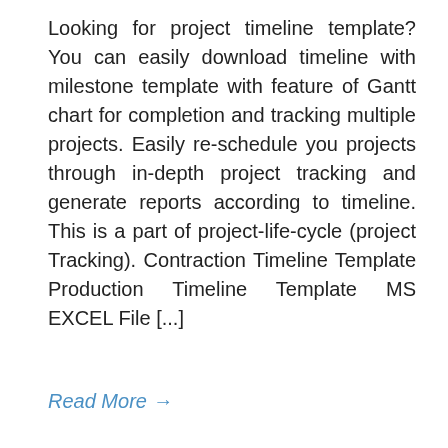Looking for project timeline template? You can easily download timeline with milestone template with feature of Gantt chart for completion and tracking multiple projects. Easily re-schedule you projects through in-depth project tracking and generate reports according to timeline. This is a part of project-life-cycle (project Tracking). Contraction Timeline Template Production Timeline Template MS EXCEL File [...]
Read More →